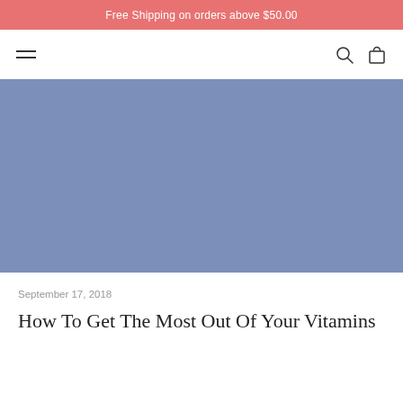Free Shipping on orders above $50.00
[Figure (screenshot): Navigation bar with hamburger menu on left and search and cart icons on right]
[Figure (photo): Hero image placeholder with slate blue/periwinkle color]
September 17, 2018
How To Get The Most Out Of Your Vitamins